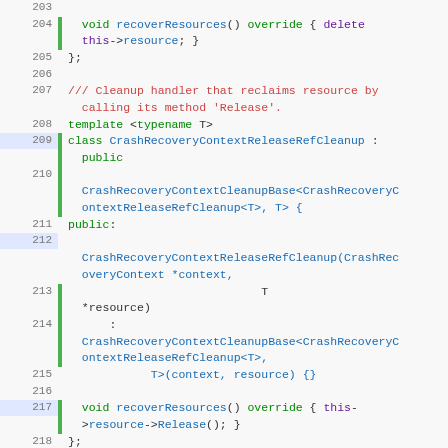[Figure (screenshot): C++ source code viewer showing lines 204-224 with syntax highlighting. Green sidebar gutters, blue line numbers, green keywords, red comments, blue identifiers.]